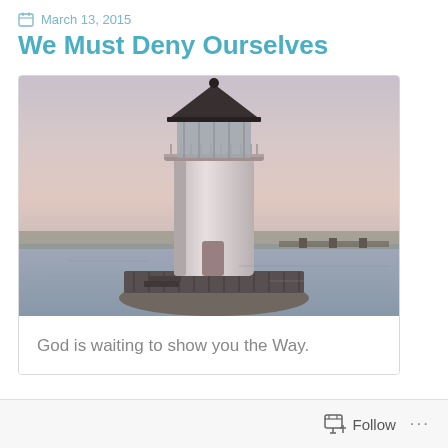March 13, 2015
We Must Deny Ourselves
[Figure (photo): Photograph of a white lighthouse at dusk/dawn with a dark lantern room top, surrounded by water and a metal fence platform, with a faint pink and grey sky in the background.]
God is waiting to show you the Way.
Follow ...